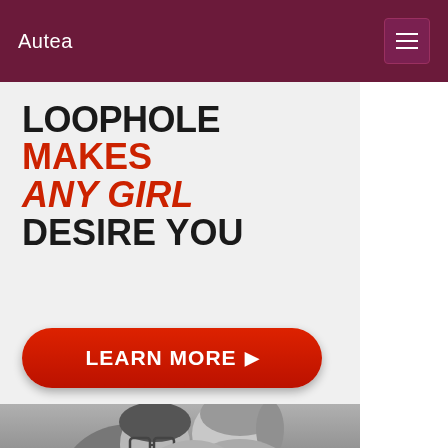Autea
[Figure (illustration): Advertisement banner with text 'LOOPHOLE MAKES ANY GIRL DESIRE YOU', a red 'LEARN MORE' button with arrow, and a black-and-white photo of a couple kissing]
LOOPHOLE MAKES ANY GIRL DESIRE YOU LEARN MORE